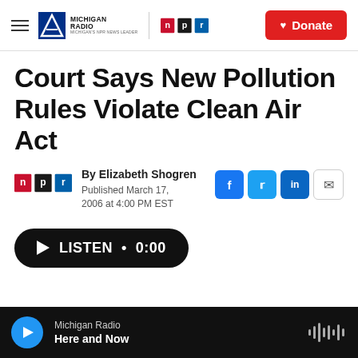Michigan Radio | NPR | Donate
Court Says New Pollution Rules Violate Clean Air Act
By Elizabeth Shogren
Published March 17, 2006 at 4:00 PM EST
LISTEN • 0:00
Michigan Radio
Here and Now